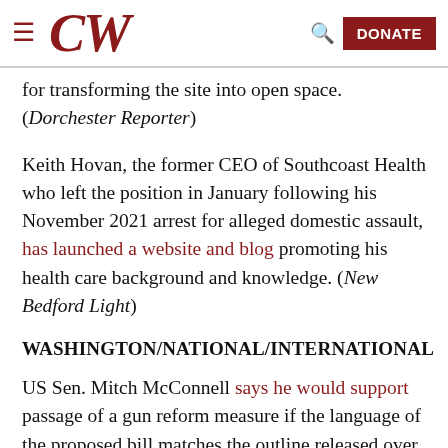CW [logo] DONATE
for transforming the site into open space. (Dorchester Reporter)
Keith Hovan, the former CEO of Southcoast Health who left the position in January following his November 2021 arrest for alleged domestic assault, has launched a website and blog promoting his health care background and knowledge. (New Bedford Light)
WASHINGTON/NATIONAL/INTERNATIONAL
US Sen. Mitch McConnell says he would support passage of a gun reform measure if the language of the proposed bill matches the outline released over the